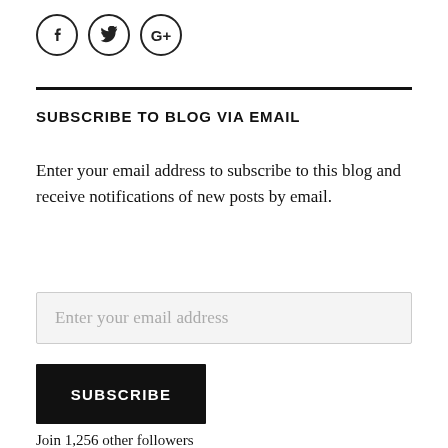[Figure (illustration): Three social media icon circles: Facebook (f), Twitter (bird), and Google+ (G+)]
SUBSCRIBE TO BLOG VIA EMAIL
Enter your email address to subscribe to this blog and receive notifications of new posts by email.
Enter your email address
SUBSCRIBE
Join 1,256 other followers